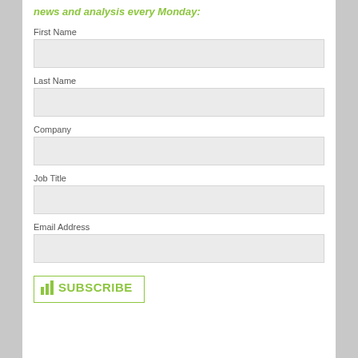news and analysis every Monday:
First Name
Last Name
Company
Job Title
Email Address
[Figure (other): Subscribe button with bar chart icon and the text 'CIll.SUBSCRIBE' in green]